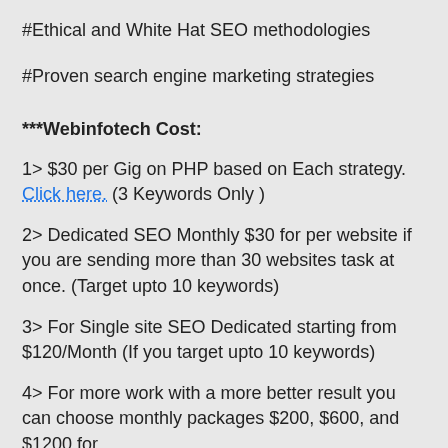#Ethical and White Hat SEO methodologies
#Proven search engine marketing strategies
***Webinfotech Cost:
1> $30 per Gig on PHP based on Each strategy. Click here. (3 Keywords Only )
2> Dedicated SEO Monthly $30 for per website if you are sending more than 30 websites task at once. (Target upto 10 keywords)
3> For Single site SEO Dedicated starting from $120/Month (If you target upto 10 keywords)
4> For more work with a more better result you can choose monthly packages $200, $600, and $1200 for